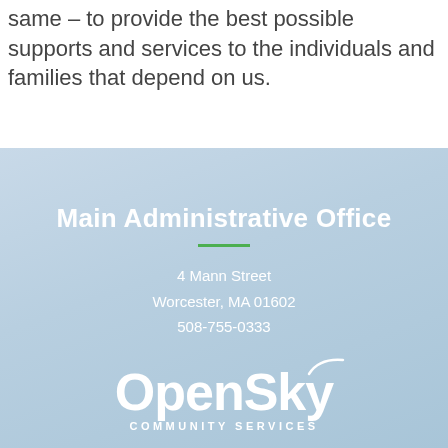same – to provide the best possible supports and services to the individuals and families that depend on us.
Main Administrative Office
4 Mann Street
Worcester, MA 01602
508-755-0333
[Figure (logo): Open Sky Community Services logo in white text on light blue gradient background]